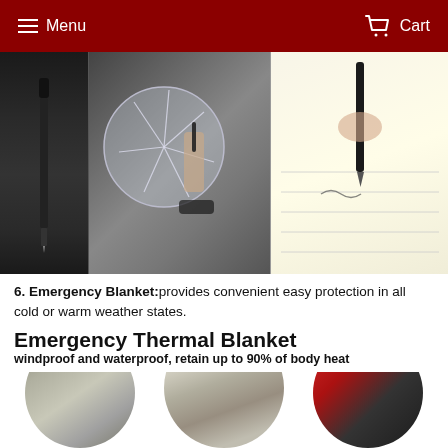Menu  Cart
[Figure (photo): Three product images: tactical pen shown standalone, person using tactical pen to break car window, and person writing with tactical pen in a notebook]
6. Emergency Blanket:provides convenient easy protection in all cold or warm weather states.
Emergency Thermal Blanket
windproof and waterproof, retain up to 90% of body heat
[Figure (photo): Three circular photos of people using emergency thermal blankets: person in camouflage gear with silver blanket, woman wrapped in silver emergency blanket, and person in red jacket with child]